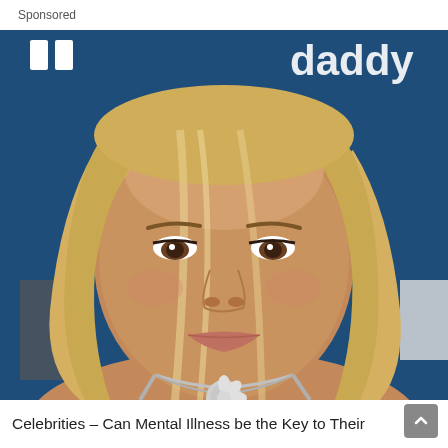Sponsored
[Figure (photo): A blonde woman with long hair wearing a silver necklace, photographed at what appears to be a blue-backdrop event with white logos visible in the background.]
Celebrities – Can Mental Illness be the Key to Their